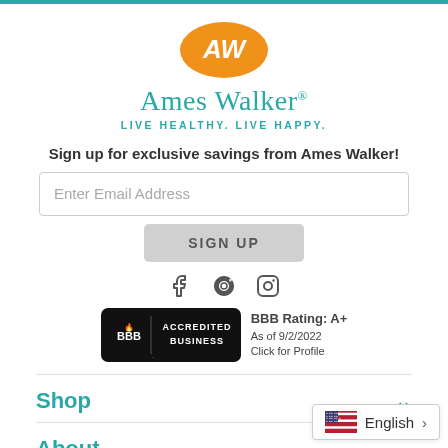[Figure (logo): Ames Walker logo: orange oval with AW initials and 'Ames Walker LIVE HEALTHY. LIVE HAPPY.' text]
Sign up for exclusive savings from Ames Walker!
Enter Email Address
SIGN UP
[Figure (illustration): Social media icons: Facebook, Pinterest, Instagram]
[Figure (logo): BBB Accredited Business badge. BBB Rating: A+ As of 9/2/2022 Click for Profile]
Shop
About
English